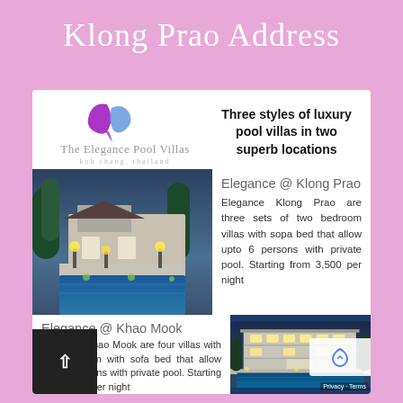Klong Prao Address
[Figure (logo): The Elegance Pool Villas logo with purple butterfly/leaf motif and text 'The Elegance Pool Villas koh chang, thailand']
Three styles of luxury pool villas in two superb locations
[Figure (photo): Exterior photo of villa with illuminated pool at dusk, tropical garden lighting]
Elegance @ Klong Prao
Elegance Klong Prao are three sets of two bedroom villas with sopa bed that allow upto 6 persons with private pool. Starting from 3,500 per night
Elegance @ Khao Mook
Elegance Khao Mook are four villas with two bedroom with sofa bed that allow upto 6 persons with private pool. Starting from 4,500 per night
[Figure (photo): Exterior photo of large modern villa at night with pool, illuminated facade]